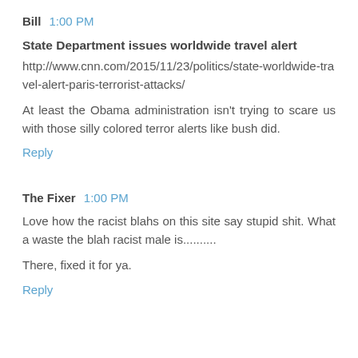Bill  1:00 PM
State Department issues worldwide travel alert
http://www.cnn.com/2015/11/23/politics/state-worldwide-travel-alert-paris-terrorist-attacks/

At least the Obama administration isn't trying to scare us with those silly colored terror alerts like bush did.
Reply
The Fixer  1:00 PM
Love how the racist blahs on this site say stupid shit. What a waste the blah racist male is..........
There, fixed it for ya.
Reply